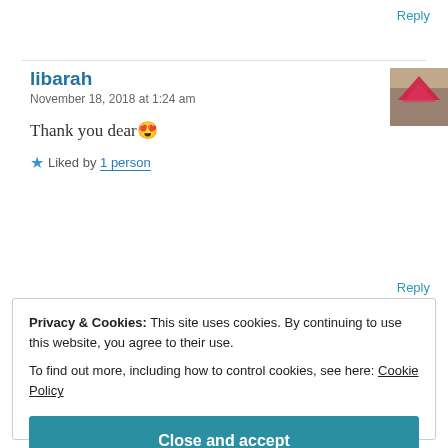Reply
libarah
November 18, 2018 at 1:24 am
[Figure (photo): User avatar thumbnail showing a person with a red heart shape]
Thank you dear 😍
★ Liked by 1 person
Reply
Privacy & Cookies: This site uses cookies. By continuing to use this website, you agree to their use.
To find out more, including how to control cookies, see here: Cookie Policy
Close and accept